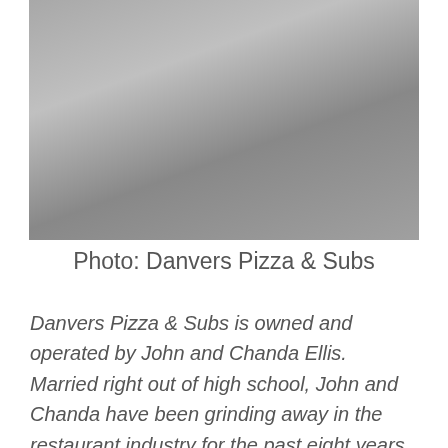[Figure (photo): Two people sitting/leaning at a restaurant counter or pizza shop interior, dark background with equipment visible]
Photo: Danvers Pizza & Subs
Danvers Pizza & Subs is owned and operated by John and Chanda Ellis. Married right out of high school, John and Chanda have been grinding away in the restaurant industry for the past eight years. John started as a grill cook in a busy pizza shop in Lowell